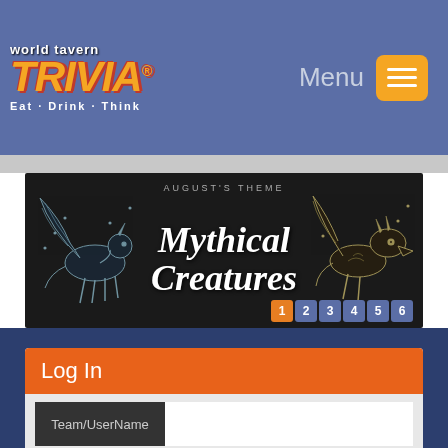[Figure (logo): World Tavern Trivia logo with tagline Eat · Drink · Think]
Menu
[Figure (screenshot): August's Theme – Mythical Creatures banner with pegasus and dragon illustrations and pagination numbers 1 2 3 4 5 6]
Log In
Team/UserName
Password
Keep me logged in.
Forgot Your Password?